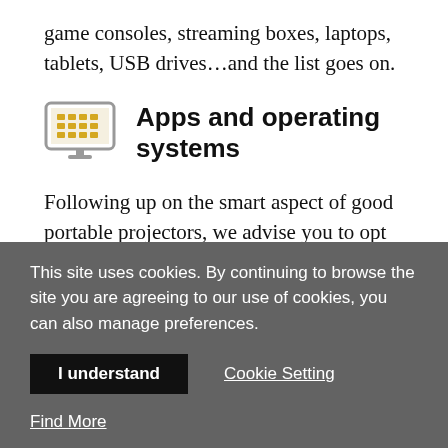game consoles, streaming boxes, laptops, tablets, USB drives…and the list goes on.
Apps and operating systems
Following up on the smart aspect of good portable projectors, we advise you to opt for models that have Android-based operating systems onboard. With that, you have access to essential apps like Netflix, Prime
This site uses cookies. By continuing to browse the site you are agreeing to our use of cookies, you can also manage preferences.
I understand
Cookie Setting
Find More